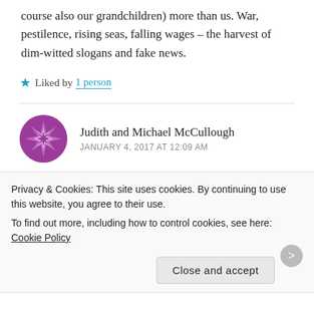course also our grandchildren) more than us. War, pestilence, rising seas, falling wages – the harvest of dim-witted slogans and fake news.
★ Liked by 1 person
Judith and Michael McCullough
JANUARY 4, 2017 AT 12:09 AM
Thank goodness. This is the best rant you've done in
Privacy & Cookies: This site uses cookies. By continuing to use this website, you agree to their use.
To find out more, including how to control cookies, see here: Cookie Policy
Close and accept